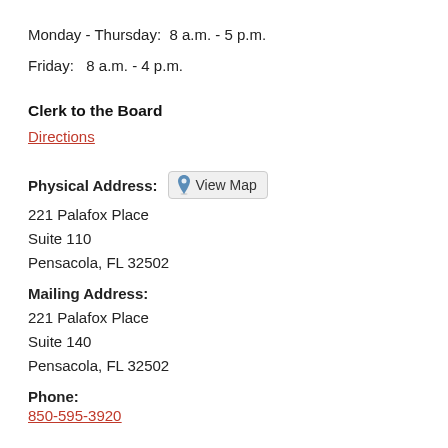Monday - Thursday:  8 a.m. - 5 p.m.
Friday:   8 a.m. - 4 p.m.
Clerk to the Board
Directions
Physical Address:  View Map
221 Palafox Place
Suite 110
Pensacola, FL 32502
Mailing Address:
221 Palafox Place
Suite 140
Pensacola, FL 32502
Phone:
850-595-3920